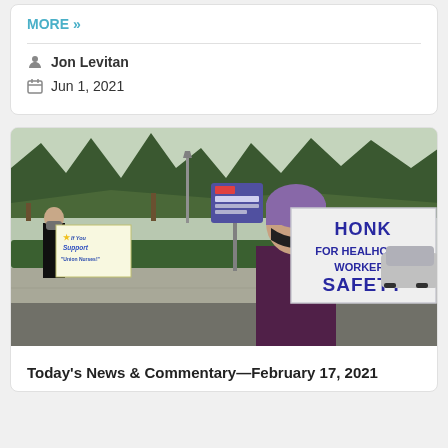MORE »
Jon Levitan
Jun 1, 2021
[Figure (photo): Healthcare worker protest photo: person holding sign reading 'HONK FOR HEALTHCARE WORKERS SAFETY' outside a hospital, wearing a purple head covering and black mask. Another protester visible in background with a sign.]
Today's News & Commentary—February 17, 2021